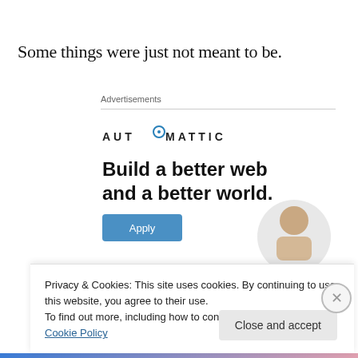Some things were just not meant to be.
Advertisements
[Figure (screenshot): Automattic advertisement showing logo, headline 'Build a better web and a better world.', an Apply button, and a circular photo of a person thinking.]
Privacy & Cookies: This site uses cookies. By continuing to use this website, you agree to their use.
To find out more, including how to control cookies, see here: Cookie Policy
Close and accept